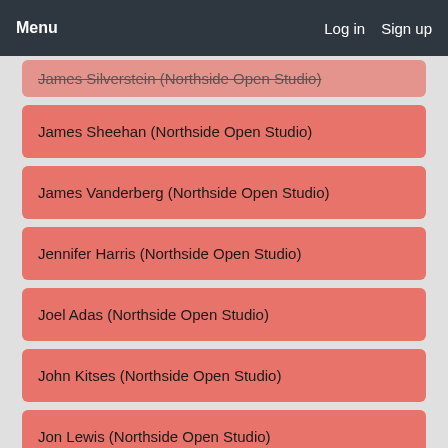Menu   Log in   Sign up
James Silverstein (Northside Open Studio)
James Sheehan (Northside Open Studio)
James Vanderberg (Northside Open Studio)
Jennifer Harris (Northside Open Studio)
Joel Adas (Northside Open Studio)
John Kitses (Northside Open Studio)
Jon Lewis (Northside Open Studio)
Kate Nielsen (Northside Open Studio)
Kayrock Screenprinting (Northside Open Studio)